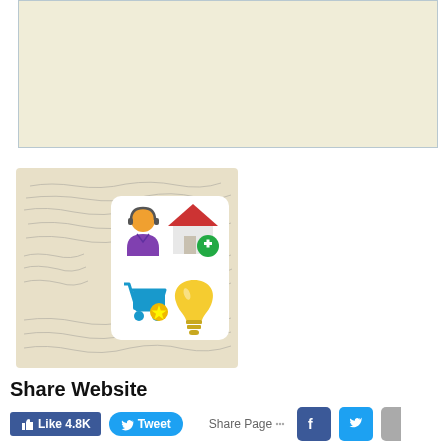[Figure (other): Beige/cream blank content area with light blue border at the top of the page]
[Figure (illustration): Handwritten letter background (old cursive script on aged paper) with a white rounded square overlay containing four flat icons: a customer support agent (person with headset, purple), a house with a green plus sign, a shopping cart with a gold star, and a yellow lightbulb]
Share Website
[Figure (other): Social sharing buttons row: blue Facebook Like button showing '4.8K', blue rounded Tweet button, 'Share Page' label with dots icon, Facebook logo icon, Twitter bird logo icon, and a partially visible third icon]